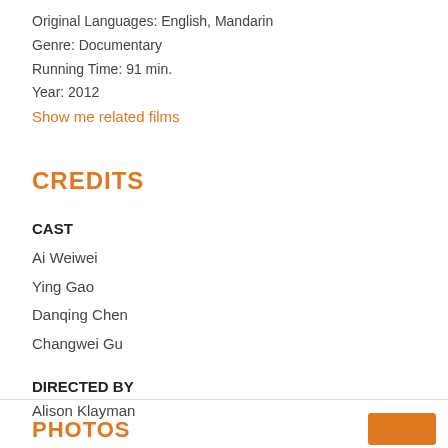Original Languages: English, Mandarin
Genre: Documentary
Running Time: 91 min.
Year: 2012
Show me related films
CREDITS
CAST
Ai Weiwei
Ying Gao
Danqing Chen
Changwei Gu
DIRECTED BY
Alison Klayman
PHOTOS